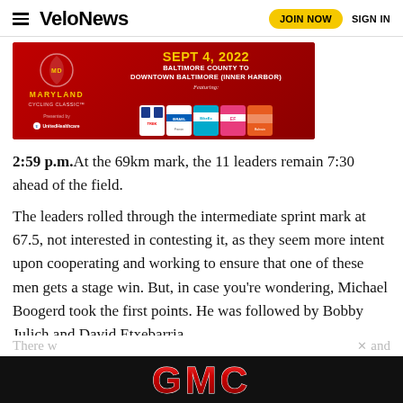VeloNews — JOIN NOW  SIGN IN
[Figure (illustration): Maryland Cycling Classic advertisement banner. Red background with text 'SEPT 4, 2022 BALTIMORE COUNTY TO DOWNTOWN BALTIMORE (INNER HARBOR) Featuring:' and cycling team jerseys displayed. Maryland Cycling Classic logo and UnitedHealthcare sponsor logo on left.]
2:59 p.m. At the 69km mark, the 11 leaders remain 7:30 ahead of the field.
The leaders rolled through the intermediate sprint mark at 67.5, not interested in contesting it, as they seem more intent upon cooperating and working to ensure that one of these men gets a stage win. But, in case you're wondering, Michael Boogerd took the first points. He was followed by Bobby Julich and David Etxebarria.
[Figure (illustration): GMC advertisement banner on dark/black background with large red GMC logo text.]
There w... and